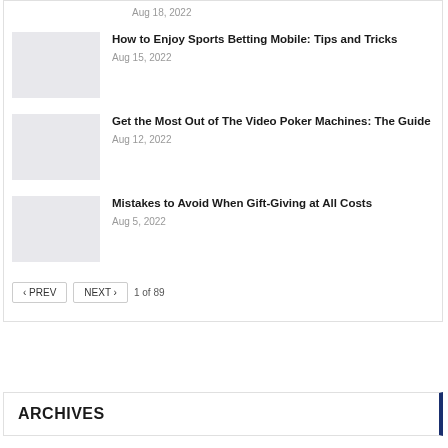Aug 18, 2022
How to Enjoy Sports Betting Mobile: Tips and Tricks — Aug 15, 2022
Get the Most Out of The Video Poker Machines: The Guide — Aug 12, 2022
Mistakes to Avoid When Gift-Giving at All Costs — Aug 5, 2022
1 of 89
ARCHIVES